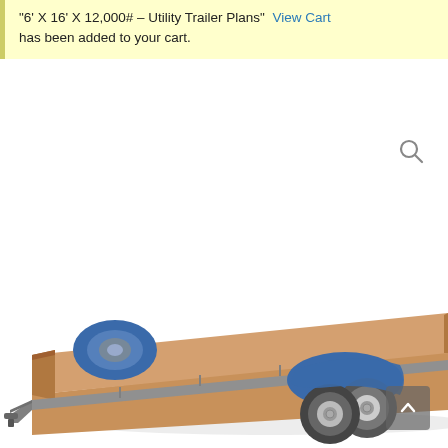"6' X 16' X 12,000# – Utility Trailer Plans"  View Cart has been added to your cart.
[Figure (illustration): 3D rendering of a flat-deck utility trailer with blue fenders, tandem axle with two tires on each side, a spare tire mounted at the front-left, and a tan/wood-colored flat deck surface with grey frame structure.]